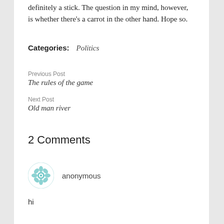definitely a stick. The question in my mind, however, is whether there's a carrot in the other hand. Hope so.
Categories: Politics
Previous Post
The rules of the game
Next Post
Old man river
2 Comments
anonymous
hi